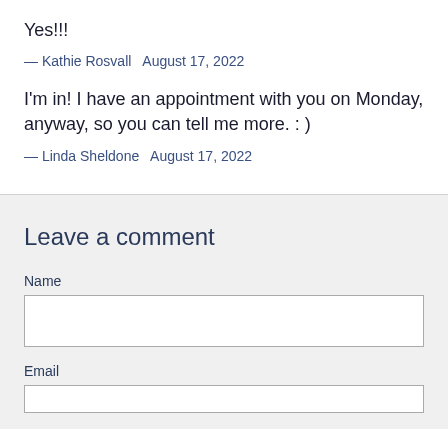Yes!!!
— Kathie Rosvall   August 17, 2022
I'm in! I have an appointment with you on Monday, anyway, so you can tell me more. : )
— Linda Sheldone   August 17, 2022
Leave a comment
Name
Email